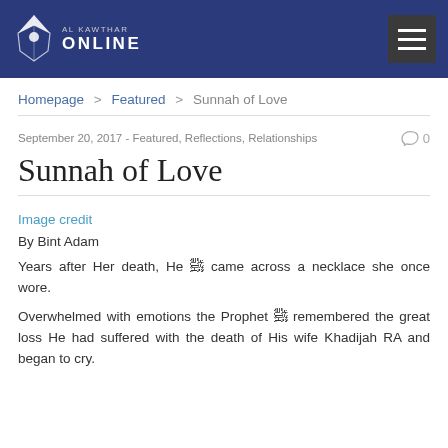Al Kawthar ONLINE
Homepage > Featured > Sunnah of Love
September 20, 2017 - Featured, Reflections, Relationships  0
Sunnah of Love
Image credit
By Bint Adam
Years after Her death, He ﷺ came across a necklace she once wore.
Overwhelmed with emotions the Prophet ﷺ remembered the great loss He had suffered with the death of His wife Khadijah RA and began to cry.